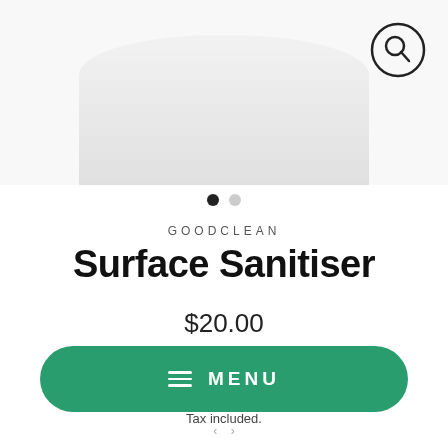[Figure (photo): Product image of a surface sanitiser container, partially visible at top of page, white background]
GOODCLEAN
Surface Sanitiser
$20.00
or 4 interest-free payments of $5.00 with afterpay
Free Shipping $50 and above
Tax included.
MENU